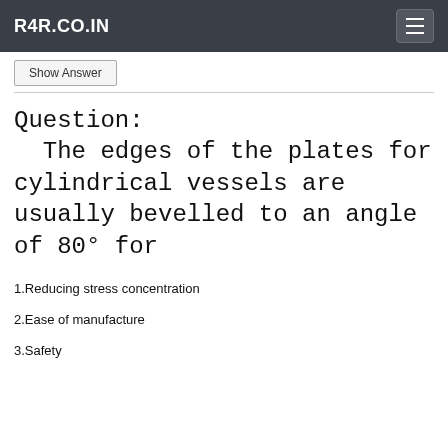R4R.CO.IN
Show Answer
Question:
The edges of the plates for cylindrical vessels are usually bevelled to an angle of 80° for
1.Reducing stress concentration
2.Ease of manufacture
3.Safety